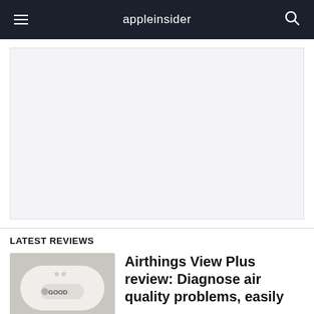appleinsider
[Figure (other): Advertisement placeholder area with light gray background]
LATEST REVIEWS
[Figure (photo): Photo of an Airthings View Plus air quality monitor device, white oval-shaped device showing GOOD reading on display]
Airthings View Plus review: Diagnose air quality problems, easily